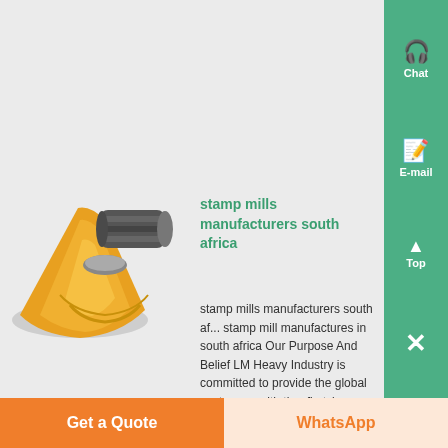More Information
[Figure (photo): Yellow and grey cone-shaped stamp mill component against a light background]
stamp mills manufacturers south africa
stamp mills manufacturers south africa stamp mill manufactures in south africa Our Purpose And Belief LM Heavy Industry is committed to provide the global customers with the firstclass products and superior service striving to maximize and optimize the interests and values of the customers and build bright future with high quality...
Get a Quote
WhatsApp